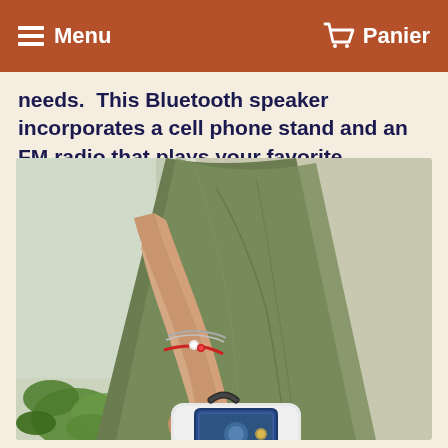Menu   Panier
needs.  This Bluetooth speaker incorporates a cell phone stand and an FM radio that plays your favorite stations.
[Figure (photo): A woman wearing an olive green dress and bracelets (a delicate chain bracelet and a red string bracelet with a small charm) holding a portable Bluetooth speaker with a phone stand by its handle. Green plants are visible in the background.]